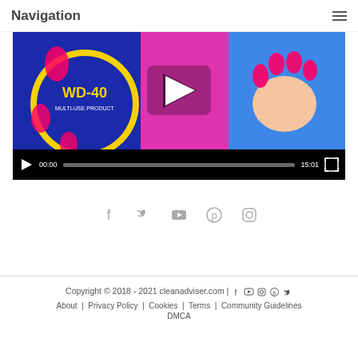Navigation
[Figure (screenshot): Video player showing a WD-40 product video thumbnail with colorful background (blue, pink, yellow). Controls show play button, 00:00 timestamp, seek bar, 15:01 duration, and fullscreen button.]
[Figure (infographic): Social media icons row: Facebook (f), Twitter (bird), YouTube, Pinterest (p), Instagram]
Copyright © 2018 - 2021 cleanadviser.com | [social icons] About | Privacy Policy | Cookies | Terms | Community Guidelines | DMCA